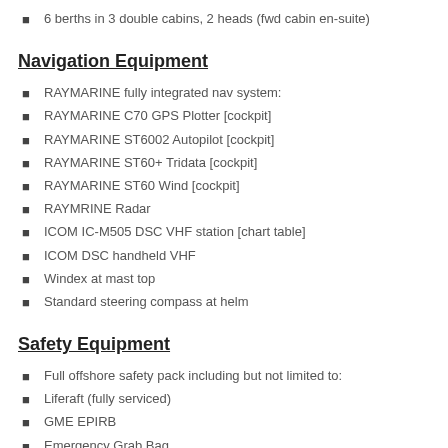6 berths in 3 double cabins, 2 heads (fwd cabin en-suite)
Navigation Equipment
RAYMARINE fully integrated nav system:
RAYMARINE C70 GPS Plotter [cockpit]
RAYMARINE ST6002 Autopilot [cockpit]
RAYMARINE ST60+ Tridata [cockpit]
RAYMARINE ST60 Wind [cockpit]
RAYMRINE Radar
ICOM IC-M505 DSC VHF station [chart table]
ICOM DSC handheld VHF
Windex at mast top
Standard steering compass at helm
Safety Equipment
Full offshore safety pack including but not limited to:
Liferaft (fully serviced)
GME EPIRB
Emergency Grab Bag